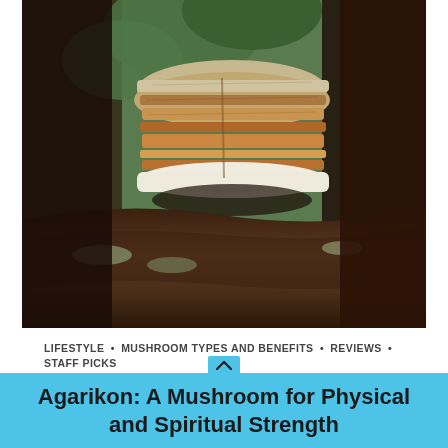[Figure (photo): Close-up photo of a large bracket fungus (Agarikon) growing on a tree trunk, showing layered brown and tan concentric rings. The background shows dark bark and green foliage.]
LIFESTYLE • MUSHROOM TYPES AND BENEFITS • REVIEWS • STAFF PICKS
Agarikon: A Mushroom for Physical and Spiritual Strength